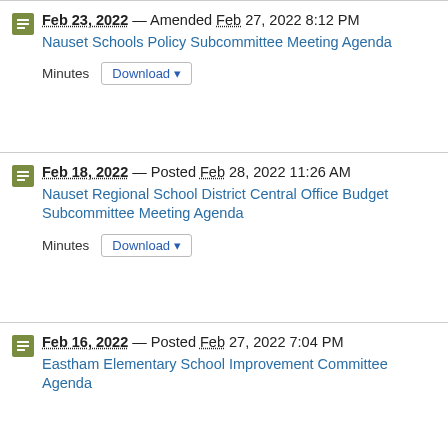Feb 23, 2022 — Amended Feb 27, 2022 8:12 PM
Nauset Schools Policy Subcommittee Meeting Agenda
Minutes  Download
Feb 18, 2022 — Posted Feb 28, 2022 11:26 AM
Nauset Regional School District Central Office Budget Subcommittee Meeting Agenda
Minutes  Download
Feb 16, 2022 — Posted Feb 27, 2022 7:04 PM
Eastham Elementary School Improvement Committee Agenda